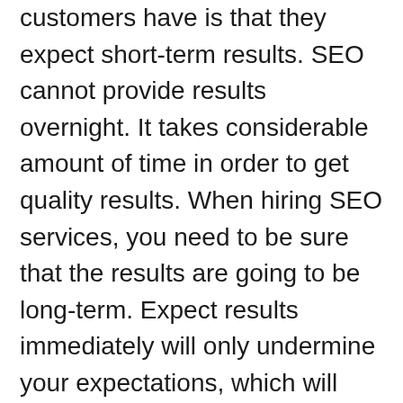customers have is that they expect short-term results. SEO cannot provide results overnight. It takes considerable amount of time in order to get quality results. When hiring SEO services, you need to be sure that the results are going to be long-term. Expect results immediately will only undermine your expectations, which will only further disappoint you.
10.  Do comparison shopping
Comparison shopping equally applies on SEO agencies as well. There are many agencies out there and filtering out the right ones can be an art.